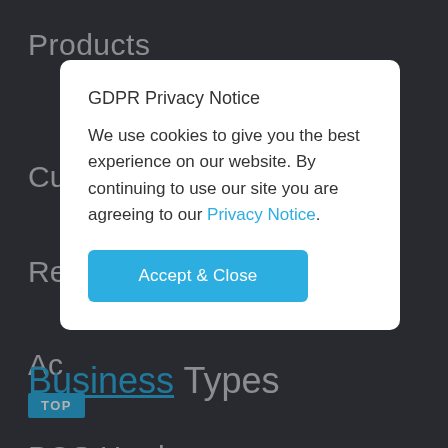Products
Cu
Re
Ac
POS Hardware
GDPR Privacy Notice
We use cookies to give you the best experience on our website. By continuing to use our site you are agreeing to our Privacy Notice.
Accept & Close
Business Types
TOP